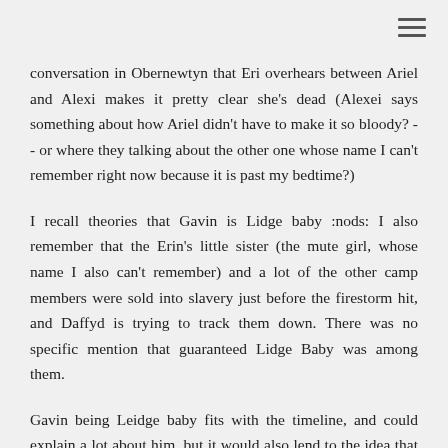conversation in Obernewtyn that Eri overhears between Ariel and Alexi makes it pretty clear she's dead (Alexei says something about how Ariel didn't have to make it so bloody? -- or where they talking about the other one whose name I can't remember right now because it is past my bedtime?)
I recall theories that Gavin is Lidge baby :nods: I also remember that the Erin's little sister (the mute girl, whose name I also can't remember) and a lot of the other camp members were sold into slavery just before the firestorm hit, and Daffyd is trying to track them down. There was no specific mention that guaranteed Lidge Baby was among them.
Gavin being Leidge baby fits with the timeline, and could explain a lot about him, but it would also lend to the idea that Ariel was unaware of his powers (or unwilling/unable to make use of them), or even